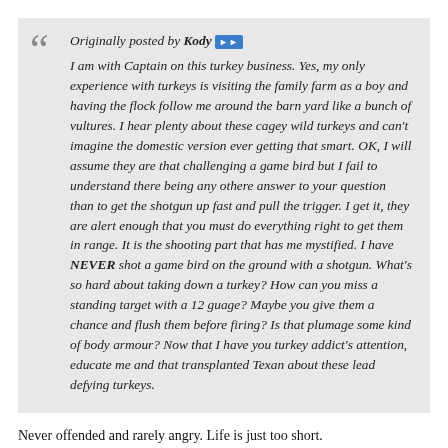Originally posted by Kody ►► I am with Captain on this turkey business. Yes, my only experience with turkeys is visiting the family farm as a boy and having the flock follow me around the barn yard like a bunch of vultures. I hear plenty about these cagey wild turkeys and can't imagine the domestic version ever getting that smart. OK, I will assume they are that challenging a game bird but I fail to understand there being any othere answer to your question than to get the shotgun up fast and pull the trigger. I get it, they are alert enough that you must do everything right to get them in range. It is the shooting part that has me mystified. I have NEVER shot a game bird on the ground with a shotgun. What's so hard about taking down a turkey? How can you miss a standing target with a 12 guage? Maybe you give them a chance and flush them before firing? Is that plumage some kind of body armour? Now that I have you turkey addict's attention, educate me and that transplanted Texan about these lead defying turkeys.
Never offended and rarely angry. Life is just too short. Explaining why we hunt to a non-hunter is difficult, same applies to hunters who hunt other things. So rather than go into